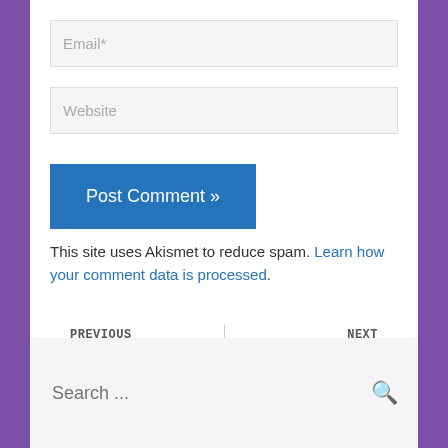Email*
Website
Post Comment »
This site uses Akismet to reduce spam. Learn how your comment data is processed.
PREVIOUS
The Faster I Go, The Behinder I ...
NEXT
Write 10,000 Words* A Day
Search ...